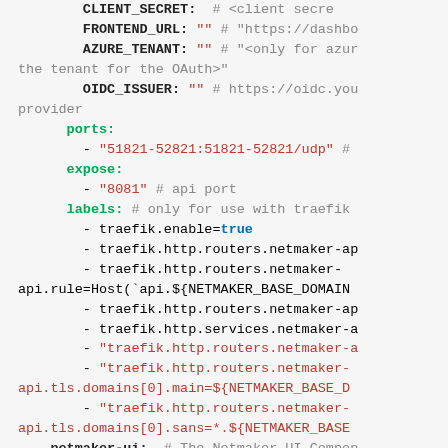[Figure (screenshot): Code block showing YAML/Docker Compose configuration with environment variables and labels for Netmaker API and UI services, including CLIENT_SECRET, FRONTEND_URL, AZURE_TENANT, OIDC_ISSUER, ports, expose, and traefik labels.]